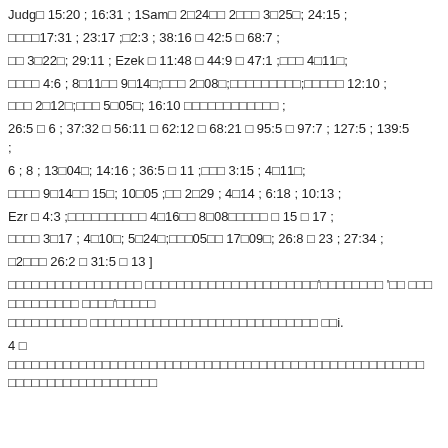Judg□ 15:20 ; 16:31 ; 1Sam□ 2□24□□ 2□□□ 3□25□; 24:15 ;
□□□□17:31 ; 23:17 ;□2:3 ; 38:16 □ 42:5 □ 68:7 ;
□□ 3□22□; 29:11 ; Ezek □ 11:48 □ 44:9 □ 47:1 ;□□□ 4□11□;
□□□□ 4:6 ; 8□11□□ 9□14□;□□□ 2□08□;□□□□□□□□□;□□□□□ 12:10 ;
□□□ 2□12□;□□□ 5□05□; 16:10 □□□□□□□□□□□□ ;
26:5 □ 6 ; 37:32 □ 56:11 □ 62:12 □ 68:21 □ 95:5 □ 97:7 ; 127:5 ; 139:5 ;
6 ; 8 ; 13□04□; 14:16 ; 36:5 □ 11 ;□□□ 3:15 ; 4□11□;
□□□□ 9□14□□ 15□; 10□05 ;□□ 2□29 ; 4□14 ; 6:18 ; 10:13 ;
Ezr □ 4:3 ;□□□□□□□□□□ 4□16□□ 8□08□□□□□ □ 15 □ 17 ;
□□□□ 3□17 ; 4□10□; 5□24□;□□□05□□ 17□09□; 26:8 □ 23 ; 27:34 ;
□2□□□ 26:2 □ 31:5 □ 13 ]
□□□□□□□□□□□□□□□□□ □□□□□□□□□□□□□□□□□□□□□□'□□□□□□□□ '□□ □□□ □□□□□□□□□ □□□□'□□□□□ □□□□□□□□□□□ □□□□□□□□□□□□□□□□□□□□□□□□□□□ □□i.
4 □ □□□□□□□□□□□□□□□□□□□□□□□□□□□□□□□□□□□□□□□□□□□□□□□□□□□ □□□□□□□□□□□□□□□□□□□